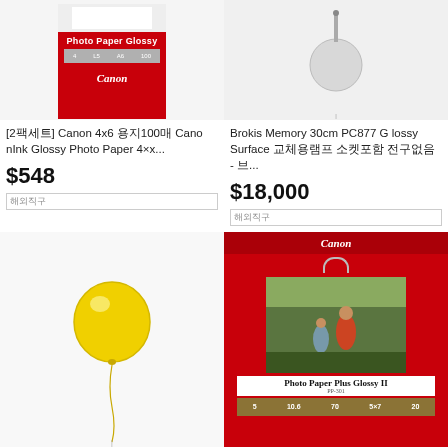[Figure (photo): Canon Photo Paper Glossy box product image, red packaging with white top section]
[2팩세트] Canon 4x6 용지100매 CanonInk Glossy Photo Paper 4×x...
$548
해외직구
[Figure (photo): Brokis Memory 30cm PC877 Glossy Surface lamp on white background]
Brokis Memory 30cm PC877 Glossy Surface 교체용램프 소켓포함 전구없음 - 브...
$18,000
해외직구
[Figure (photo): Yellow balloon decoration on white wall]
[Figure (photo): Canon Photo Paper Plus Glossy II box, red packaging showing adults and child running outdoors]